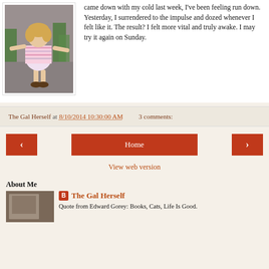[Figure (photo): Young girl in striped dress dancing outdoors with arms outstretched, children in background]
came down with my cold last week, I've been feeling run down. Yesterday, I surrendered to the impulse and dozed whenever I felt like it. The result? I felt more vital and truly awake. I may try it again on Sunday.
The Gal Herself at 8/10/2014 10:30:00 AM    3 comments:
< Home >
View web version
About Me
[Figure (photo): Small photo thumbnail in About Me section]
The Gal Herself
Quote from Edward Gorey: Books, Cats, Life Is Good.